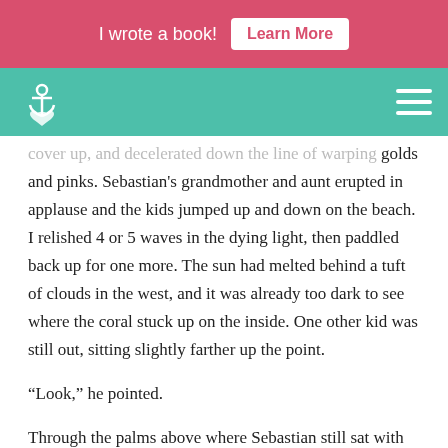I wrote a book!  Learn More
[Figure (logo): Anchor logo in teal navigation bar with hamburger menu icon on the right]
cover up, and decelerated down the line of warping golds and pinks. Sebastian's grandmother and aunt erupted in applause and the kids jumped up and down on the beach. I relished 4 or 5 waves in the dying light, then paddled back up for one more. The sun had melted behind a tuft of clouds in the west, and it was already too dark to see where the coral stuck up on the inside. One other kid was still out, sitting slightly farther up the point.
“Look,” he pointed.
Through the palms above where Sebastian still sat with his grandma and auntie, a fat full moon glowed rusty